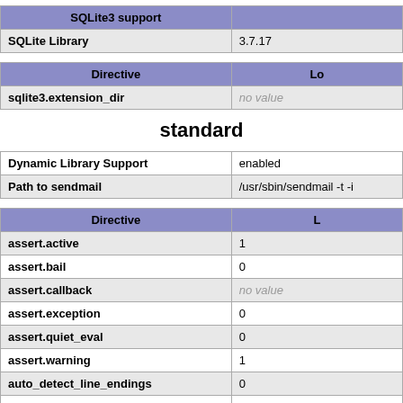| SQLite3 support |  |
| --- | --- |
| SQLite Library | 3.7.17 |
| Directive | Lo |
| --- | --- |
| sqlite3.extension_dir | no value |
standard
|  |  |
| --- | --- |
| Dynamic Library Support | enabled |
| Path to sendmail | /usr/sbin/sendmail -t -i |
| Directive | L |
| --- | --- |
| assert.active | 1 |
| assert.bail | 0 |
| assert.callback | no value |
| assert.exception | 0 |
| assert.quiet_eval | 0 |
| assert.warning | 1 |
| auto_detect_line_endings | 0 |
| default_socket_timeout | 60 |